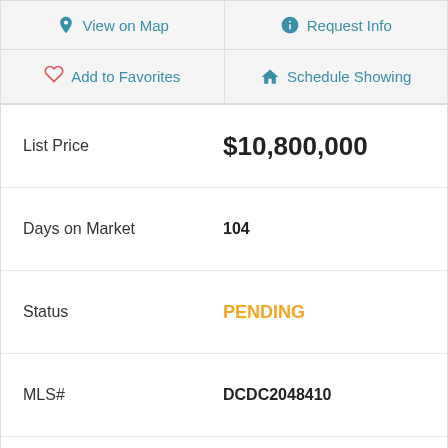View on Map
Request Info
Add to Favorites
Schedule Showing
| Field | Value |
| --- | --- |
| List Price | $10,800,000 |
| Days on Market | 104 |
| Status | PENDING |
| MLS# | DCDC2048410 |
| Bedrooms | 5 |
| Bathrooms | 7 |
| Full Baths | 6 |
| Half Baths | 1 |